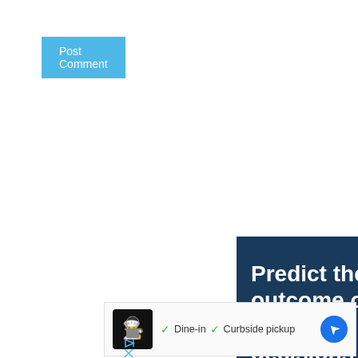[Figure (screenshot): Blue 'Post Comment' button in the top left area]
[Figure (infographic): Advertisement banner with dark navy background displaying the text 'Predict the outcome of your business decisions' in large bold white font, with play and close icons in the top right corner]
[Figure (screenshot): Google Maps business snippet showing chef logo, dine-in and curbside pickup checkmarks, and a blue navigation arrow icon]
[Figure (infographic): Small ad disclosure icons (play triangle and X close) below the main ad, in light blue color]